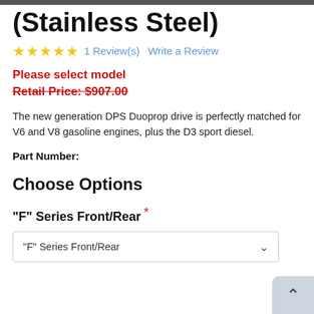(Stainless Steel)
★★★★★  1 Review(s)  Write a Review
Please select model
Retail Price: $907.00
The new generation DPS Duoprop drive is perfectly matched for V6 and V8 gasoline engines, plus the D3 sport diesel.
Part Number:
Choose Options
"F" Series Front/Rear *
"F" Series Front/Rear